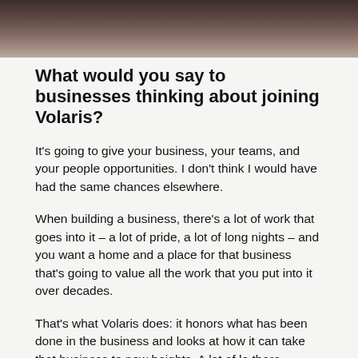[Figure (photo): Partial portrait photo of a person with dark hair, cropped at the top of the page, showing shoulders and top of head against a dark background.]
What would you say to businesses thinking about joining Volaris?
It's going to give your business, your teams, and your people opportunities. I don't think I would have had the same chances elsewhere.
When building a business, there's a lot of work that goes into it – a lot of pride, a lot of long nights – and you want a home and a place for that business that's going to value all the work that you put into it over decades.
That's what Volaris does: it honors what has been done in the business and looks at how it can take that business to new heights. A lot of love there...